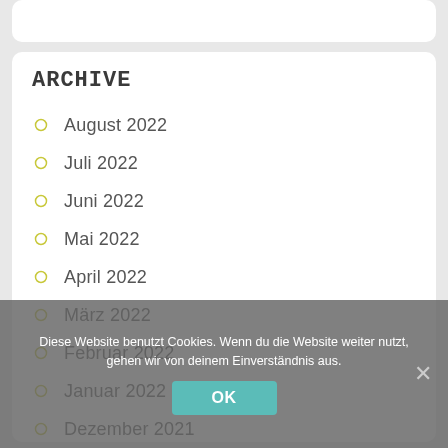ARCHIVE
August 2022
Juli 2022
Juni 2022
Mai 2022
April 2022
März 2022
Februar 2022
Januar 2022
Dezember 2021
November 2021
Oktober 2021
September 2021
August 2021
Diese Website benutzt Cookies. Wenn du die Website weiter nutzt, gehen wir von deinem Einverständnis aus.